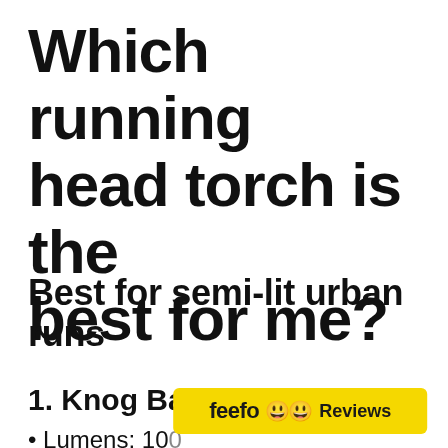Which running head torch is the best for me?
Best for semi-lit urban runs
1. Knog Bandicoot
• Lumens: 100
[Figure (logo): Feefo Reviews badge with yellow background, showing 'feefo' logo with smiley face icons and 'Reviews' text]